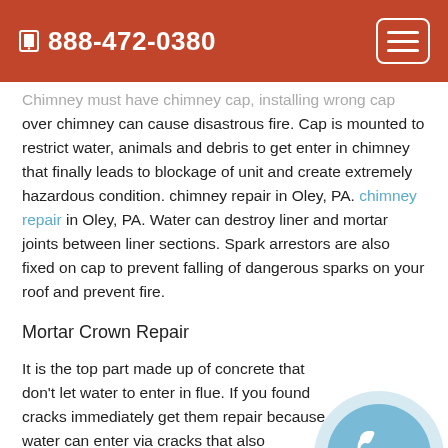888-472-0380
Chimney must have chimney cap, installing wrong cap over chimney can cause disastrous fire. Cap is mounted to restrict water, animals and debris to get enter in chimney that finally leads to blockage of unit and create extremely hazardous condition. chimney repair in Oley, PA. chimney repair in Oley, PA. Water can destroy liner and mortar joints between liner sections. Spark arrestors are also fixed on cap to prevent falling of dangerous sparks on your roof and prevent fire.
Mortar Crown Repair
It is the top part made up of concrete that don't let water to enter in flue. If you found cracks immediately get them repair because water can enter via cracks that also destroys other parts like ceilings, walls and